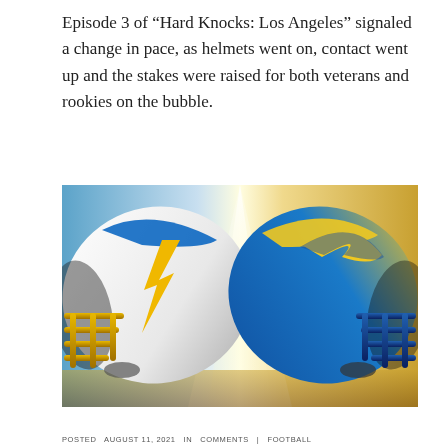Episode 3 of “Hard Knocks: Los Angeles” signaled a change in pace, as helmets went on, contact went up and the stakes were raised for both veterans and rookies on the bubble.
[Figure (illustration): Two NFL football helmets facing each other against a bright skyline background. Left helmet is white with a gold lightning bolt (LA Chargers). Right helmet is blue and yellow with a curved horn (LA Rams). City skyline and dramatic light beam visible in the background between the helmets.]
POSTED  AUGUST 11, 2021  in  COMMENTS  |  FOOTBALL